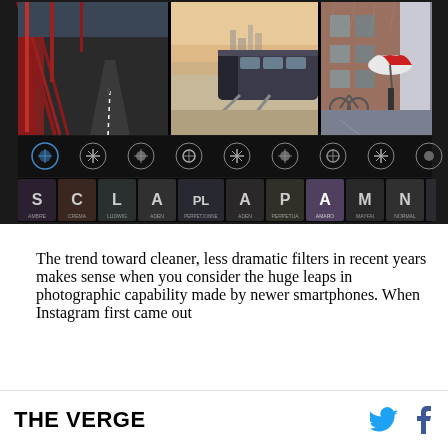[Figure (photo): Instagram filter selection interface showing three photos side by side (bridge road, train on tracks, rainy street with umbrella) and a row of filter thumbnails with names like AMBRE, CREMA, LUDWIG, ADEN, PERPETJONNE, ADEN, PERPETUA, AMARO, MAYFAI, NORMAL, SLUMBER, CREMA, LUDWIG at the bottom]
The trend toward cleaner, less dramatic filters in recent years makes sense when you consider the huge leaps in photographic capability made by newer smartphones. When Instagram first came out
THE VERGE